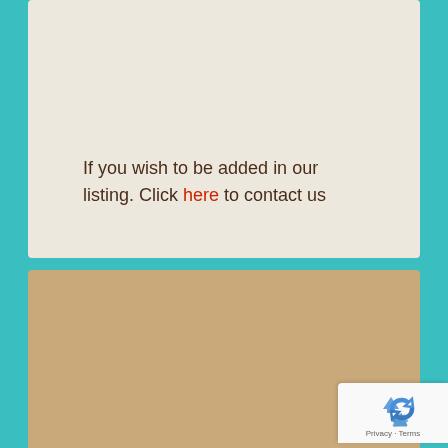If you wish to be added in our listing. Click here to contact us
[Figure (other): reCAPTCHA badge with recycling arrow icon and Privacy - Terms footer links]